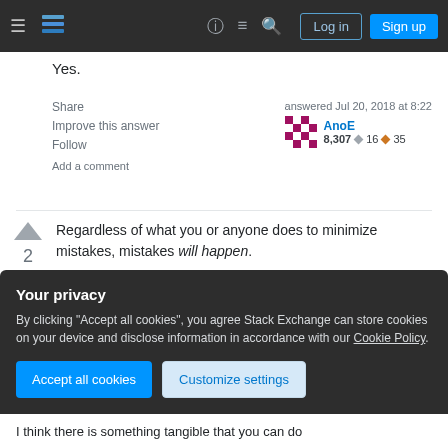Stack Exchange navigation header with Log in and Sign up buttons
Yes.
Share
Improve this answer
Follow
Add a comment
answered Jul 20, 2018 at 8:22
AnoE
8,307 ◆ 16 ◆ 35
Regardless of what you or anyone does to minimize mistakes, mistakes will happen.
There are, of course, technical "best-practices" that
Your privacy
By clicking "Accept all cookies", you agree Stack Exchange can store cookies on your device and disclose information in accordance with our Cookie Policy.
Accept all cookies
Customize settings
I think there is something tangible that you can do